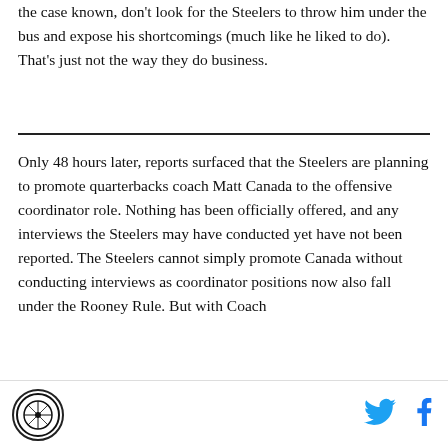the case known, don't look for the Steelers to throw him under the bus and expose his shortcomings (much like he liked to do). That's just not the way they do business.
Only 48 hours later, reports surfaced that the Steelers are planning to promote quarterbacks coach Matt Canada to the offensive coordinator role. Nothing has been officially offered, and any interviews the Steelers may have conducted yet have not been reported. The Steelers cannot simply promote Canada without conducting interviews as coordinator positions now also fall under the Rooney Rule. But with Coach
[logo] [twitter icon] [facebook icon]